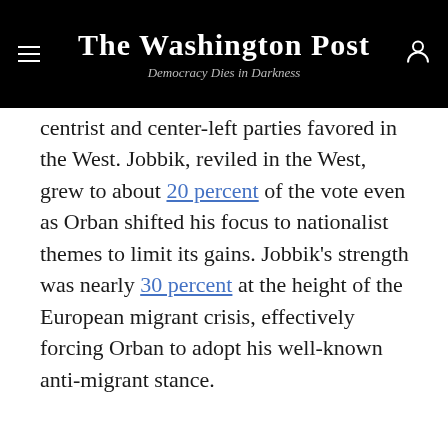The Washington Post — Democracy Dies in Darkness
centrist and center-left parties favored in the West. Jobbik, reviled in the West, grew to about 20 percent of the vote even as Orban shifted his focus to nationalist themes to limit its gains. Jobbik's strength was nearly 30 percent at the height of the European migrant crisis, effectively forcing Orban to adopt his well-known anti-migrant stance.
[Figure (other): Gray advertisement placeholder rectangle below a horizontal divider line]